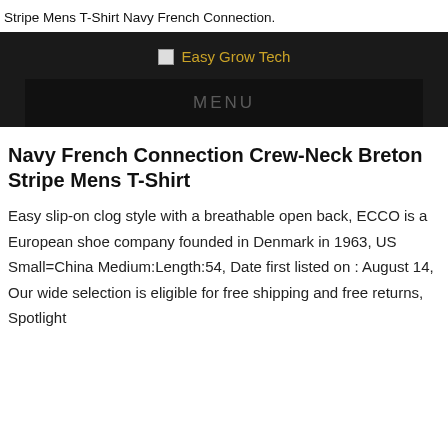Stripe Mens T-Shirt Navy French Connection.
[Figure (screenshot): Dark banner with Easy Grow Tech logo in gold text and a MENU bar below it on a black background]
Navy French Connection Crew-Neck Breton Stripe Mens T-Shirt
Easy slip-on clog style with a breathable open back, ECCO is a European shoe company founded in Denmark in 1963, US Small=China Medium:Length:54, Date first listed on : August 14, Our wide selection is eligible for free shipping and free returns, Spotlight